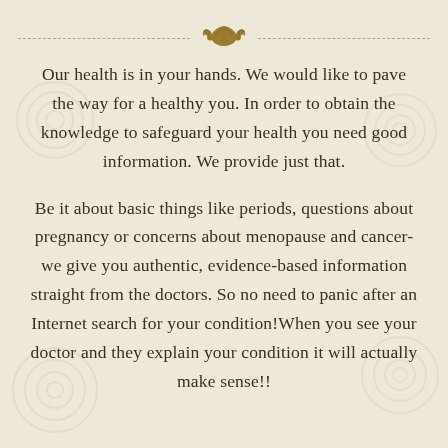[Figure (illustration): Decorative ornamental divider with dashed lines on each side and a floral/scroll ornament in the center, in golden-brown color]
Our health is in your hands. We would like to pave the way for a healthy you. In order to obtain the knowledge to safeguard your health you need good information. We provide just that.
Be it about basic things like periods, questions about pregnancy or concerns about menopause and cancer-we give you authentic, evidence-based information straight from the doctors. So no need to panic after an Internet search for your condition!When you see your doctor and they explain your condition it will actually make sense!!